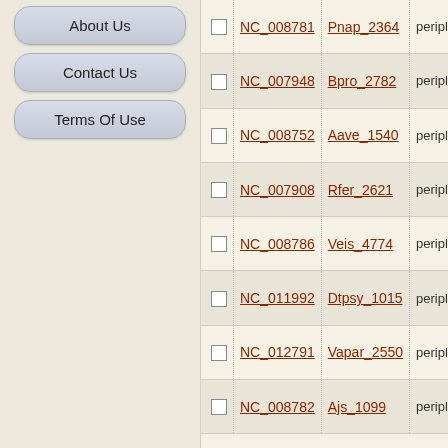About Us
Contact Us
Terms Of Use
|  | Accession | Gene | Description |
| --- | --- | --- | --- |
| ☐ | NC_008781 | Pnap_2364 | periplas... |
| ☐ | NC_007948 | Bpro_2782 | periplas... |
| ☐ | NC_008752 | Aave_1540 | periplas... |
| ☐ | NC_007908 | Rfer_2621 | periplas... |
| ☐ | NC_008786 | Veis_4774 | periplas... |
| ☐ | NC_011992 | Dtpsy_1015 | periplas... |
| ☐ | NC_012791 | Vapar_2550 | periplas... |
| ☐ | NC_008782 | Ajs_1099 | periplas... |